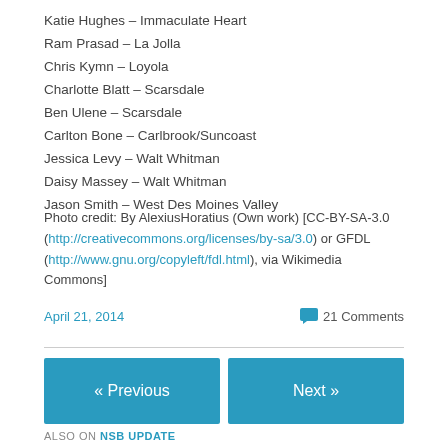Katie Hughes – Immaculate Heart
Ram Prasad – La Jolla
Chris Kymn – Loyola
Charlotte Blatt – Scarsdale
Ben Ulene – Scarsdale
Carlton Bone – Carlbrook/Suncoast
Jessica Levy – Walt Whitman
Daisy Massey – Walt Whitman
Jason Smith – West Des Moines Valley
Photo credit: By AlexiusHoratius (Own work) [CC-BY-SA-3.0 (http://creativecommons.org/licenses/by-sa/3.0) or GFDL (http://www.gnu.org/copyleft/fdl.html), via Wikimedia Commons]
April 21, 2014
21 Comments
« Previous
Next »
ALSO ON NSB UPDATE